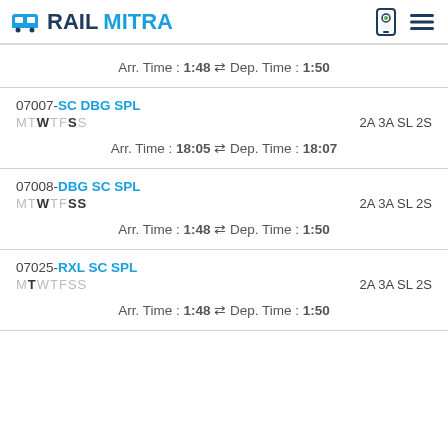RAILMITRA
Arr. Time : 1:48 ⇌ Dep. Time : 1:50
07007-SC DBG SPL MTWTFSS 2A 3A SL 2S Arr. Time : 18:05 ⇌ Dep. Time : 18:07
07008-DBG SC SPL MTWTFSS 2A 3A SL 2S Arr. Time : 1:48 ⇌ Dep. Time : 1:50
07025-RXL SC SPL MTWTFSS 2A 3A SL 2S Arr. Time : 1:48 ⇌ Dep. Time : 1:50